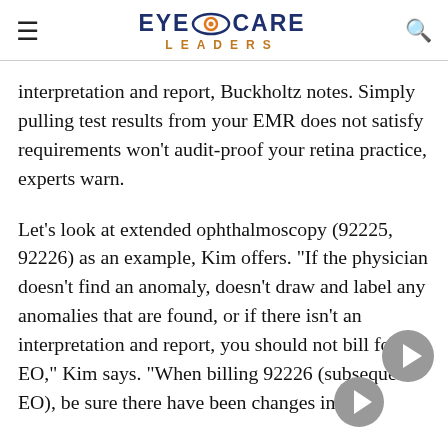EYE CARE LEADERS
interpretation and report, Buckholtz notes. Simply pulling test results from your EMR does not satisfy requirements won’t audit-proof your retina practice, experts warn.
Let’s look at extended ophthalmoscopy (92225, 92226) as an example, Kim offers. “If the physician doesn’t find an anomaly, doesn’t draw and label any anomalies that are found, or if there isn’t an interpretation and report, you should not bill for the EO,” Kim says. “When billing 92226 (subsequent EO), be sure there have been changes in the